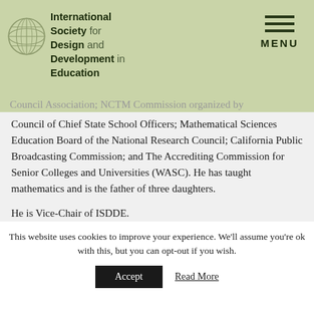International Society for Design and Development in Education | MENU
Council of Chief State School Officers; Mathematical Sciences Education Board of the National Research Council; California Public Broadcasting Commission; and The Accrediting Commission for Senior Colleges and Universities (WASC). He has taught mathematics and is the father of three daughters.

He is Vice-Chair of ISDDE.
Working group: System Change
This website uses cookies to improve your experience. We'll assume you're ok with this, but you can opt-out if you wish.